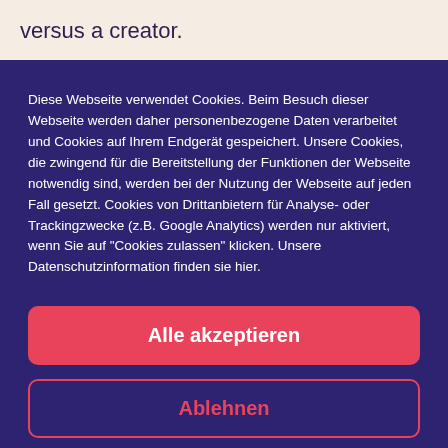versus a creator.
Diese Webseite verwendet Cookies. Beim Besuch dieser Webseite werden daher personenbezogene Daten verarbeitet und Cookies auf Ihrem Endgerät gespeichert. Unsere Cookies, die zwingend für die Bereitstellung der Funktionen der Webseite notwendig sind, werden bei der Nutzung der Webseite auf jeden Fall gesetzt. Cookies von Drittanbietern für Analyse- oder Trackingzwecke (z.B. Google Analytics) werden nur aktiviert, wenn Sie auf "Cookies zulassen" klicken. Unsere Datenschutzinformation finden sie hier.
Alle akzeptieren
Ablehnen
Cookie Policy   Datenschutzinformation   Impressum